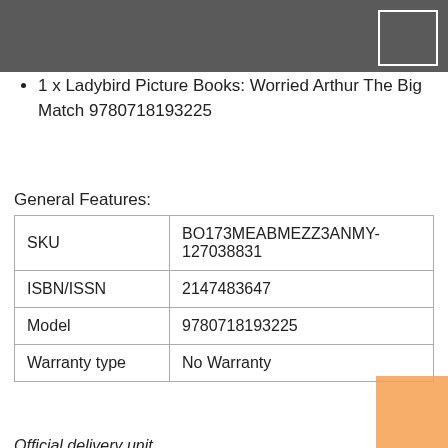1 x Ladybird Picture Books: Worried Arthur The Big Match 9780718193225
General Features:
| SKU | BO173MEABMEZZ3ANMY-127038831 |
| --- | --- |
| ISBN/ISSN | 2147483647 |
| Model | 9780718193225 |
| Warranty type | No Warranty |
Official delivery unit
[Figure (logo): Pos Malaysia logo — red and white POS wordmark with arrow, blue MALAYSIA text]
Understanding the importance of safe and secure shopping, we provide our customers with a broad range of secure payment options including cash-on-delivery, where you pay in cash only when you receive your package. Be